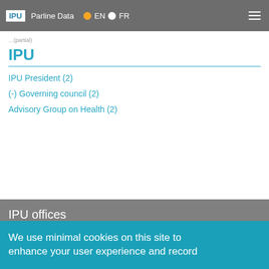IPU | Parline Data | EN | FR
IPU
IPU President (2)
(-) Governing council (2)
Advisory Group on Health (2)
IPU offices
Inter-Parliamentary Union
5, chemin du Pommier
Case postale 330
CH-1218 Le Grand-Saconnex
Geneva
Switzerland
Office of the Permanent Observer of the IPU to the United Nations
336 East 45th Street, Tenth Floor
New York, NY 10017
We use minimal cookies on this site to enhance your user experience and record